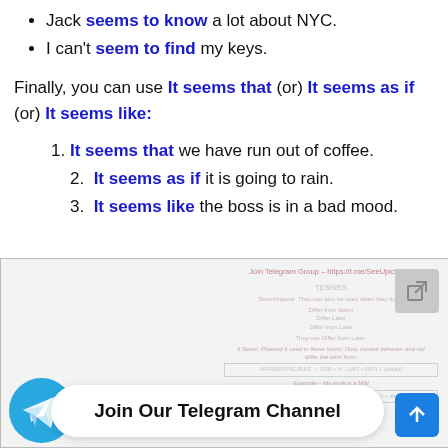Jack seems to know a lot about NYC.
I can't seem to find my keys.
Finally, you can use It seems that (or) It seems as if (or) It seems like:
It seems that we have run out of coffee.
It seems as if it is going to rain.
It seems like the boss is in a bad mood.
[Figure (screenshot): A blurred/faded screenshot of an English grammar document about tenses, overlaid with a Telegram channel promotion banner reading 'Join Our Telegram Channel' with a Telegram logo icon and an up-arrow button.]